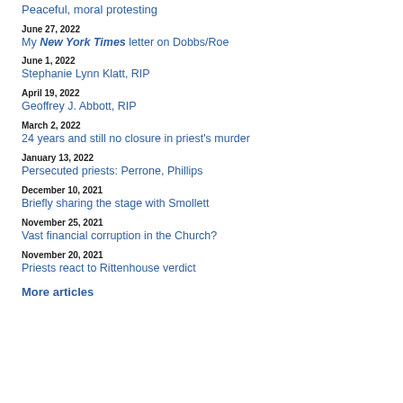Peaceful, moral protesting
June 27, 2022
My New York Times letter on Dobbs/Roe
June 1, 2022
Stephanie Lynn Klatt, RIP
April 19, 2022
Geoffrey J. Abbott, RIP
March 2, 2022
24 years and still no closure in priest's murder
January 13, 2022
Persecuted priests: Perrone, Phillips
December 10, 2021
Briefly sharing the stage with Smollett
November 25, 2021
Vast financial corruption in the Church?
November 20, 2021
Priests react to Rittenhouse verdict
More articles